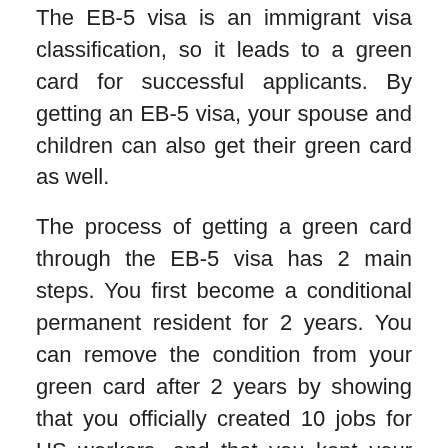The EB-5 visa is an immigrant visa classification, so it leads to a green card for successful applicants. By getting an EB-5 visa, your spouse and children can also get their green card as well.
The process of getting a green card through the EB-5 visa has 2 main steps. You first become a conditional permanent resident for 2 years. You can remove the condition from your green card after 2 years by showing that you officially created 10 jobs for US workers, and that you kept your capital invested in the US business for the entire period of time (This process will be explained in detail down below).
Summary: